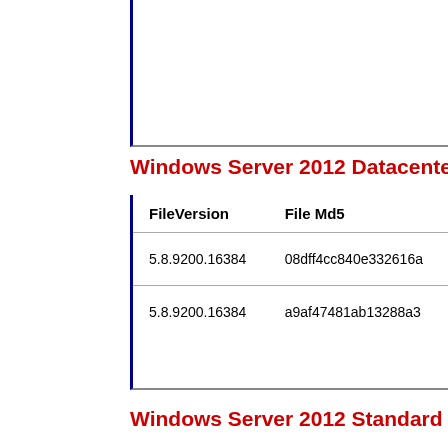| FileVersion | File Md5 |
| --- | --- |
| 5.8.9200.16384 | 08dff4cc840e332616a... |
| 5.8.9200.16384 | a9af47481ab13288a3... |
Windows Server 2012 Datacenter x64:
Windows Server 2012 Standard x64: